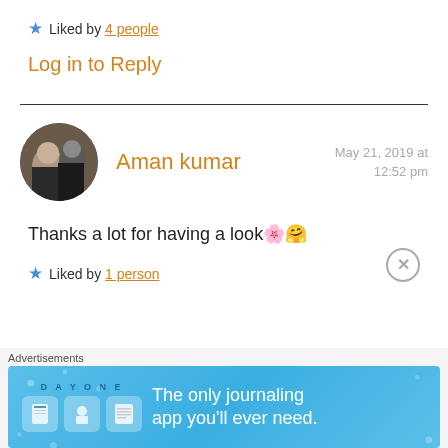Liked by 4 people
Log in to Reply
Aman kumar — May 21, 2019 at 12:52 pm
Thanks a lot for having a look 🌸🤗
Liked by 1 person
Advertisements — The only journaling app you'll ever need.